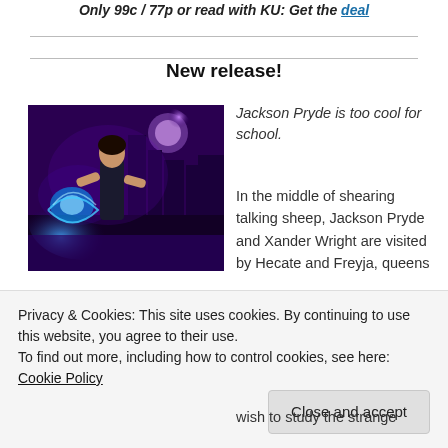Only 99c / 77p or read with KU: Get the deal
New release!
[Figure (illustration): Book cover showing a young man with dark hair wielding blue magical energy swirls against a purple and blue urban fantasy background with city buildings and a full moon.]
Jackson Pryde is too cool for school.
In the middle of shearing talking sheep, Jackson Pryde and Xander Wright are visited by Hecate and Freyja, queens
Privacy & Cookies: This site uses cookies. By continuing to use this website, you agree to their use.
To find out more, including how to control cookies, see here: Cookie Policy
Close and accept
wish to study the strange